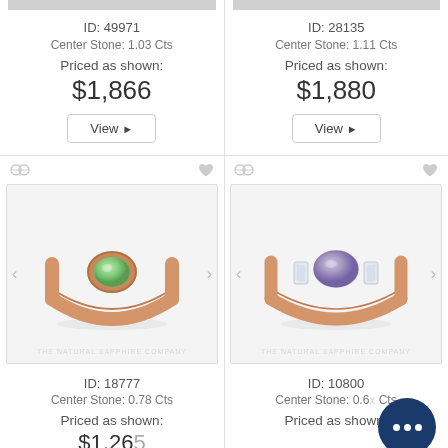[Figure (photo): Rose gold ring with green center stone - top cropped image strip]
ID: 49971
Center Stone: 1.03 Cts
Priced as shown:
$1,866
View ▶
[Figure (photo): Rose gold ring with oval center stone - top cropped image strip]
ID: 28135
Center Stone: 1.11 Cts
Priced as shown:
$1,880
View ▶
[Figure (photo): Rose gold bezel-set ring with round green gemstone center stone on light background, watermark THE NATURAL SAPPHIRE COMPANY]
ID: 18777
Center Stone: 0.78 Cts
Priced as shown:
[Figure (photo): Rose gold ring with oval gray/lavender center stone flanked by baguette diamonds, watermark THE NATURAL SAPPHIRE COMPANY]
ID: 10800
Center Stone: 0.6...
Priced as shown: